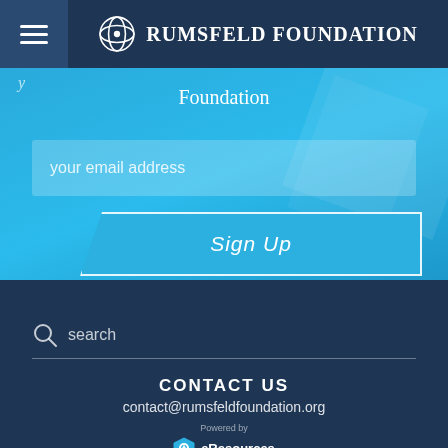Rumsfeld Foundation
Foundation
your email address
Sign Up
search
CONTACT US
contact@rumsfeldfoundation.org
Powered by eResources